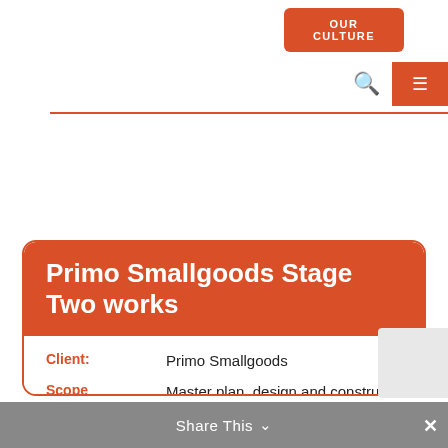OUR CULTURE
Primo Smallgoods Stage Two works
Client: Primo Smallgoods
Scope overview: Master plan, design and construct $136 Million integrated smallgoods processing plant
Project Profile: DOWNLOAD PDF
Share This